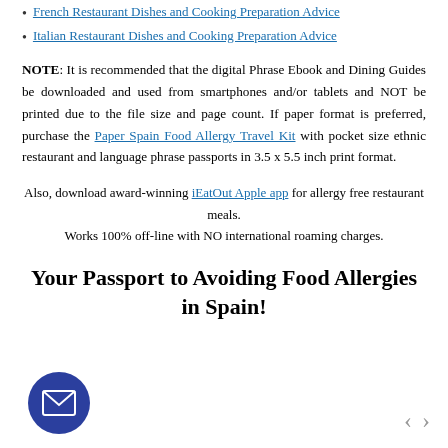French Restaurant Dishes and Cooking Preparation Advice
Italian Restaurant Dishes and Cooking Preparation Advice
NOTE: It is recommended that the digital Phrase Ebook and Dining Guides be downloaded and used from smartphones and/or tablets and NOT be printed due to the file size and page count. If paper format is preferred, purchase the Paper Spain Food Allergy Travel Kit with pocket size ethnic restaurant and language phrase passports in 3.5 x 5.5 inch print format.
Also, download award-winning iEatOut Apple app for allergy free restaurant meals.
Works 100% off-line with NO international roaming charges.
Your Passport to Avoiding Food Allergies in Spain!
[Figure (illustration): Dark blue circular email icon with envelope symbol]